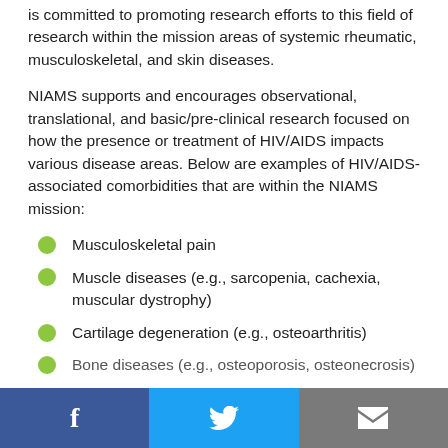is committed to promoting research efforts to this field of research within the mission areas of systemic rheumatic, musculoskeletal, and skin diseases.
NIAMS supports and encourages observational, translational, and basic/pre-clinical research focused on how the presence or treatment of HIV/AIDS impacts various disease areas. Below are examples of HIV/AIDS-associated comorbidities that are within the NIAMS mission:
Musculoskeletal pain
Muscle diseases (e.g., sarcopenia, cachexia, muscular dystrophy)
Cartilage degeneration (e.g., osteoarthritis)
Bone diseases (e.g., ...
Social share bar: Facebook, Twitter, Email